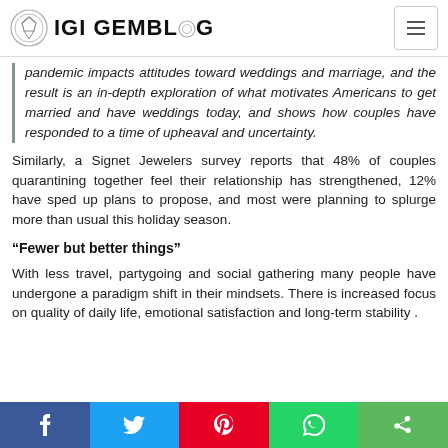IGI GEMBLOG
pandemic impacts attitudes toward weddings and marriage, and the result is an in-depth exploration of what motivates Americans to get married and have weddings today, and shows how couples have responded to a time of upheaval and uncertainty.
Similarly, a Signet Jewelers survey reports that 48% of couples quarantining together feel their relationship has strengthened, 12% have sped up plans to propose, and most were planning to splurge more than usual this holiday season.
“Fewer but better things”
With less travel, partygoing and social gathering many people have undergone a paradigm shift in their mindsets. There is increased focus on quality of daily life, emotional satisfaction and long-term stability .
Social share bar: Facebook, Twitter, Pinterest, WhatsApp, Share